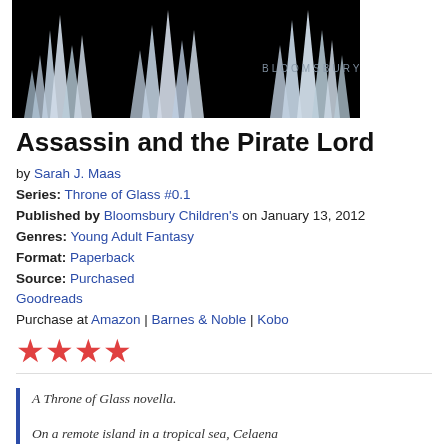[Figure (photo): Book cover image with crystal/ice formations on a black background, with 'BLOOMSBURY' text visible in the upper right area]
Assassin and the Pirate Lord
by Sarah J. Maas
Series: Throne of Glass #0.1
Published by Bloomsbury Children's on January 13, 2012
Genres: Young Adult Fantasy
Format: Paperback
Source: Purchased
Goodreads
Purchase at Amazon | Barnes & Noble | Kobo
[Figure (other): Four red/pink star rating icons]
A Throne of Glass novella.

On a remote island in a tropical sea, Celaena